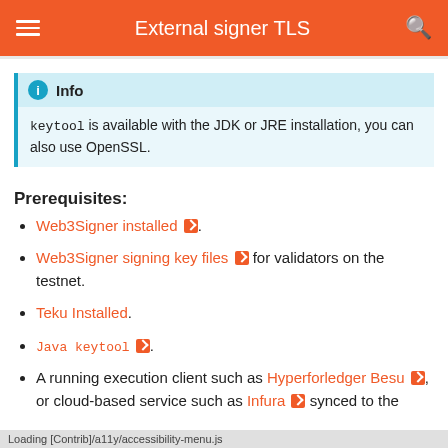External signer TLS
keytool is available with the JDK or JRE installation, you can also use OpenSSL.
Prerequisites:
Web3Signer installed [external link].
Web3Signer signing key files [external link] for validators on the testnet.
Teku Installed.
Java keytool [external link].
A running execution client such as Hyperledger Besu [external link], or cloud-based service such as Infura [external link] synced to the
Loading [Contrib]/a11y/accessibility-menu.js